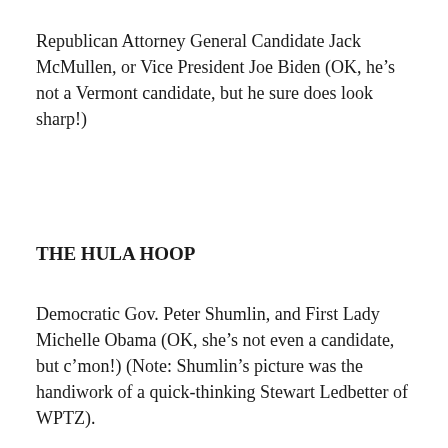Republican Attorney General Candidate Jack McMullen, or Vice President Joe Biden (OK, he’s not a Vermont candidate, but he sure does look sharp!)
THE HULA HOOP
Democratic Gov. Peter Shumlin, and First Lady Michelle Obama (OK, she’s not even a candidate, but c’mon!) (Note: Shumlin’s picture was the handiwork of a quick-thinking Stewart Ledbetter of WPTZ).